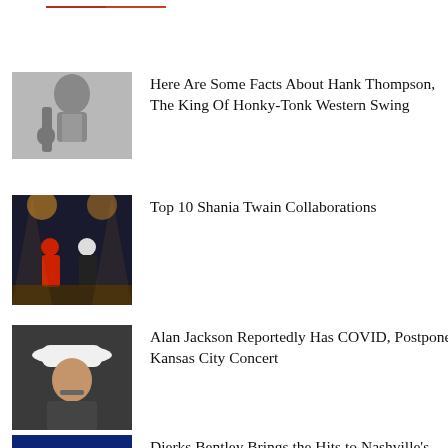[Figure (photo): Partial red/orange image at very top, cropped]
[Figure (photo): Black and white photo of Hank Thompson playing guitar]
Here Are Some Facts About Hank Thompson, The King Of Honky-Tonk Western Swing
[Figure (photo): Concert photo of Shania Twain performing on stage with dancers in colorful outfits]
Top 10 Shania Twain Collaborations
[Figure (photo): Alan Jackson wearing a white cowboy hat]
Alan Jackson Reportedly Has COVID, Postpones Kansas City Concert
[Figure (photo): Dierks Bentley performing on stage with blue lighting at Nashville's Bridgestone Arena]
Dierks Bentley Brings the Hits to Nashville's Bridgestone Arena